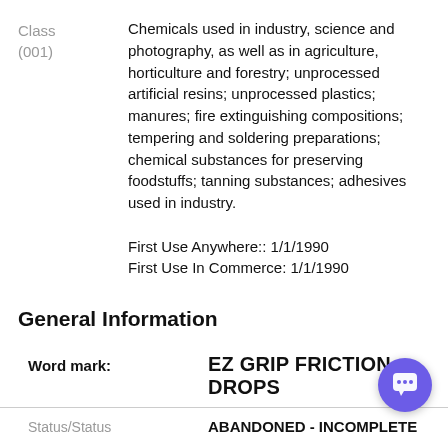Class (001)
Chemicals used in industry, science and photography, as well as in agriculture, horticulture and forestry; unprocessed artificial resins; unprocessed plastics; manures; fire extinguishing compositions; tempering and soldering preparations; chemical substances for preserving foodstuffs; tanning substances; adhesives used in industry.
First Use Anywhere:: 1/1/1990
First Use In Commerce: 1/1/1990
General Information
Word mark: EZ GRIP FRICTION DROPS
Status/Status: ABANDONED - INCOMPLETE